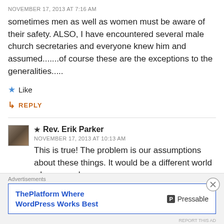NOVEMBER 17, 2013 AT 7:16 AM
sometimes men as well as women must be aware of their safety. ALSO, I have encountered several male church secretaries and everyone knew him and assumed.......of course these are the exceptions to the generalities.....
★ Like
↳ REPLY
★ Rev. Erik Parker
NOVEMBER 17, 2013 AT 10:13 AM
This is true! The problem is our assumptions about these things. It would be a different world where people
Advertisements
ThePlatform Where WordPress Works Best
P Pressable